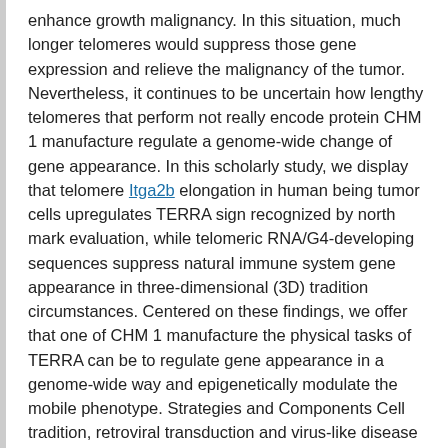enhance growth malignancy. In this situation, much longer telomeres would suppress those gene expression and relieve the malignancy of the tumor. Nevertheless, it continues to be uncertain how lengthy telomeres that perform not really encode protein CHM 1 manufacture regulate a genome-wide change of gene appearance. In this scholarly study, we display that telomere Itga2b elongation in human being tumor cells upregulates TERRA sign recognized by north mark evaluation, while telomeric RNA/G4-developing sequences suppress natural immune system gene appearance in three-dimensional (3D) tradition circumstances. Centered on these findings, we offer that one of CHM 1 manufacture the physical tasks of TERRA can be to regulate gene appearance in a genome-wide way and epigenetically modulate the mobile phenotype. Strategies and Components Cell tradition, retroviral transduction and virus-like disease Cells had been taken care of in Dulbecco's revised Eagle's moderate (DMEM, Nacalai Tesque, Kyoto, Asia) including 10% heat-inactivated fetal bovine serum (FBS) and 0.1 mg/ml kanamycin. Retroviral disease was performed essentially as previously referred to (13). Quickly, retroviral supernatants had been ready by the transient transfection of Doctor2-293 cells with